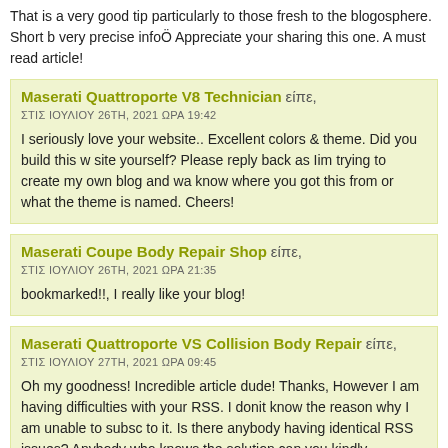That is a very good tip particularly to those fresh to the blogosphere. Short b very precise infoÖ Appreciate your sharing this one. A must read article!
Maserati Quattroporte V8 Technician είπε,
ΣΤΙΣ ΙΟΥΛΙΟΥ 26TH, 2021 ΩΡΑ 19:42
I seriously love your website.. Excellent colors & theme. Did you build this w site yourself? Please reply back as Iim trying to create my own blog and wa know where you got this from or what the theme is named. Cheers!
Maserati Coupe Body Repair Shop είπε,
ΣΤΙΣ ΙΟΥΛΙΟΥ 26TH, 2021 ΩΡΑ 21:35
bookmarked!!, I really like your blog!
Maserati Quattroporte VS Collision Body Repair είπε,
ΣΤΙΣ ΙΟΥΛΙΟΥ 27TH, 2021 ΩΡΑ 09:45
Oh my goodness! Incredible article dude! Thanks, However I am having difficulties with your RSS. I donit know the reason why I am unable to subsc to it. Is there anybody having identical RSS issues? Anybody who knows the solution can you kindly respond? Thanx!!